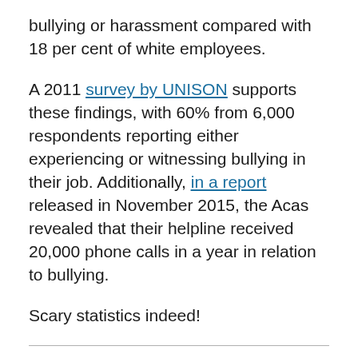bullying or harassment compared with 18 per cent of white employees.
A 2011 survey by UNISON supports these findings, with 60% from 6,000 respondents reporting either experiencing or witnessing bullying in their job. Additionally, in a report released in November 2015, the Acas revealed that their helpline received 20,000 phone calls in a year in relation to bullying.
Scary statistics indeed!
Workforce environments are experiencing increased bullying and violence. Regardless of the